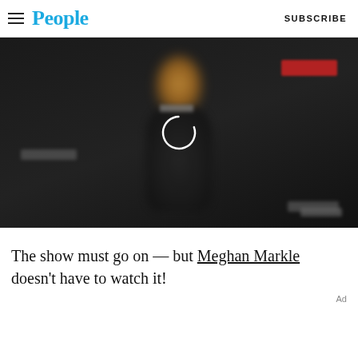People | SUBSCRIBE
[Figure (photo): Video thumbnail showing a blurred person on a dark background with a loading spinner overlay. A red banner is visible in the top right corner of the video. Gray blurred text/label overlays are present on the image.]
The show must go on — but Meghan Markle doesn't have to watch it!